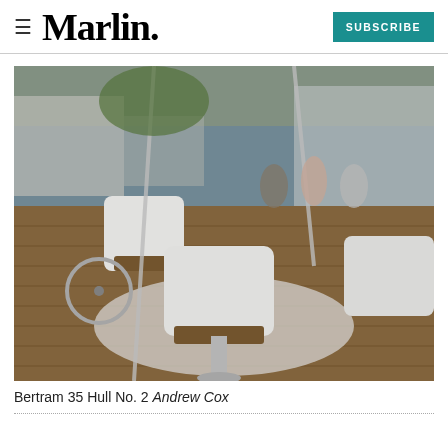≡  Marlin   SUBSCRIBE
[Figure (photo): Interior cockpit view of the Bertram 35 Hull No. 2 boat at a marina, showing white upholstered helm chairs with teak armrests, a steering wheel, and people standing in the background near other yachts.]
Bertram 35 Hull No. 2 Andrew Cox